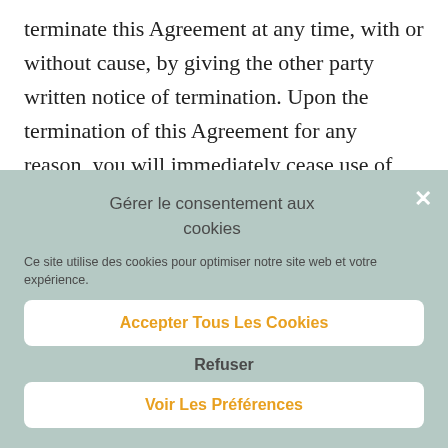terminate this Agreement at any time, with or without cause, by giving the other party written notice of termination. Upon the termination of this Agreement for any reason, you will immediately cease use of, and
Gérer le consentement aux cookies
Ce site utilise des cookies pour optimiser notre site web et votre expérience.
Accepter Tous Les Cookies
Refuser
Voir Les Préférences